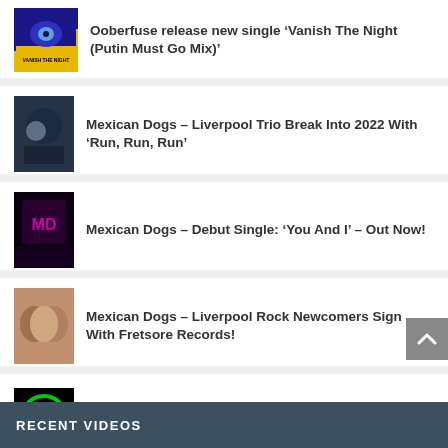Ooberfuse release new single ‘Vanish The Night (Putin Must Go Mix)’
Mexican Dogs – Liverpool Trio Break Into 2022 With ‘Run, Run, Run’
Mexican Dogs – Debut Single: ‘You And I’ – Out Now!
Mexican Dogs – Liverpool Rock Newcomers Sign With Fretsore Records!
Breaking news: ‘Money Goes To Money’ – new single from Brand New Zeros
RECENT VIDEOS